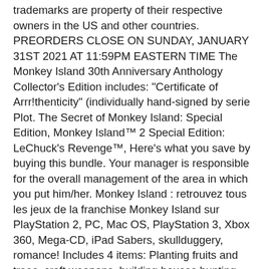trademarks are property of their respective owners in the US and other countries. PREORDERS CLOSE ON SUNDAY, JANUARY 31ST 2021 AT 11:59PM EASTERN TIME The Monkey Island 30th Anniversary Anthology Collector's Edition includes: "Certificate of Arrr!thenticity" (individually hand-signed by serie Plot. The Secret of Monkey Island: Special Edition, Monkey Island™ 2 Special Edition: LeChuck's Revenge™, Here's what you save by buying this bundle. Your manager is responsible for the overall management of the area in which you put him/her. Monkey Island : retrouvez tous les jeux de la franchise Monkey Island sur PlayStation 2, PC, Mac OS, PlayStation 3, Xbox 360, Mega-CD, iPad Sabers, skullduggery, romance! Includes 4 items: Planting fruits and trees, craft weapons, building houses,hunting and cooking, creating your own island home and Eden in dreams. Sign in to add this item to your wishlist, follow it, or mark it as not interested. It was ported to other systems in 1991, 1992, and 1993. 20/10/2020 à 14:39. The Secret Of Monkey Island is one of the most long running adventure games out there and has gathered fans from around the world. Español - Latinoamérica (Spanish - Latin America), The Secret of Monkey Island: Special Edition EULA, The Secret of Monkey Island™: Special Edition, Go on a daring adventure in your attempt to become the most infamous pirate in the Caribbean, Win the heart of the beautiful governor, Elaine Marley, Along the way, confront the evil ghost pirate, LeChuck, All new re-imagined contemporary art style, hand-drawn to feature animation quality. Re-mastered music score